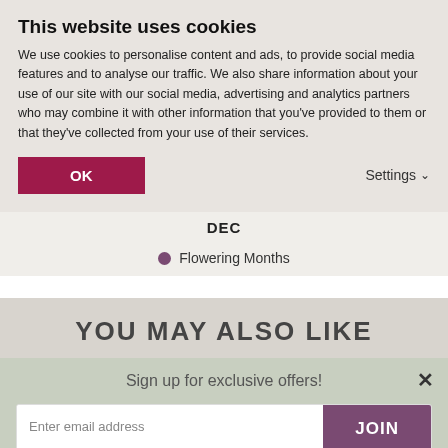This website uses cookies
We use cookies to personalise content and ads, to provide social media features and to analyse our traffic. We also share information about your use of our site with our social media, advertising and analytics partners who may combine it with other information that you've provided to them or that they've collected from your use of their services.
OK
Settings
DEC
Flowering Months
YOU MAY ALSO LIKE
Sign up for exclusive offers!
Enter email address
JOIN